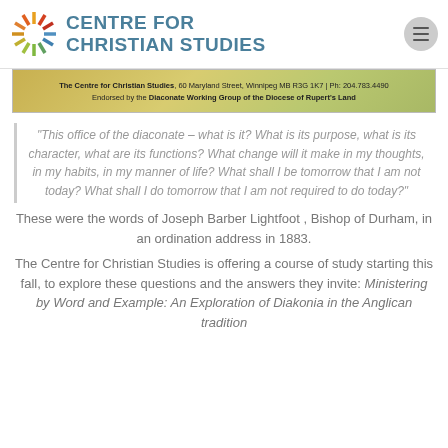CENTRE FOR CHRISTIAN STUDIES
[Figure (infographic): Banner image with text: The Centre for Christian Studies, 60 Maryland Street, Winnipeg MB R3G 1K7 | Ph: 204.783.4490. Endorsed by the Diaconate Working Group of the Diocese of Rupert's Land]
“This office of the diaconate – what is it?  What is its purpose, what is its character, what are its functions?  What change will it make in my thoughts, in my habits, in my manner of life?  What shall I be tomorrow that I am not today?  What shall I do tomorrow that I am not required to do today?”
These were the words of Joseph Barber Lightfoot , Bishop of Durham, in an ordination address in 1883.
The Centre for Christian Studies is offering a course of study starting this fall, to explore these questions and the answers they invite:  Ministering by Word and Example: An Exploration of Diakonia in the Anglican tradition